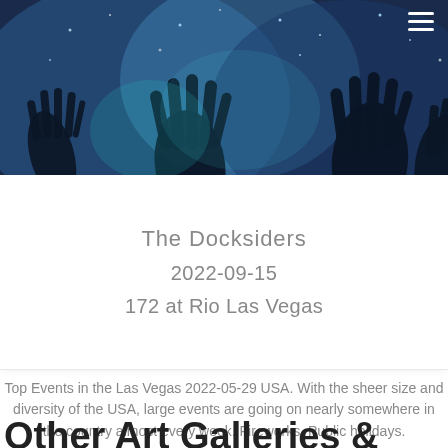[Figure (photo): Hero image showing silhouettes of hands pressed against a glittery, sparkly surface with teal and blue light effects]
The Docksiders
2022-09-15
172 at Rio Las Vegas
Top Events in the Las Vegas 2022-05-29 USA. With the sheer size and diversity of the USA, large events are going on nearly somewhere in the country almost every week. Fireworks. Public holidays.
Other Art Galleries &